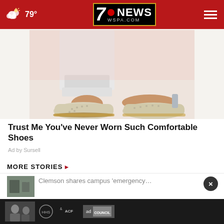7NEWS WSPA.COM — 79°
[Figure (photo): Close-up photo of person wearing white casual slip-on shoes with beaded trim and perforated design, on a pink background]
Trust Me You've Never Worn Such Comfortable Shoes
Ad by Sursell
MORE STORIES ›
Clemson shares campus 'emergency…
[Figure (photo): Black and white ad council advertisement overlay with ACF logo and children]
Uvalde school board fires police chief